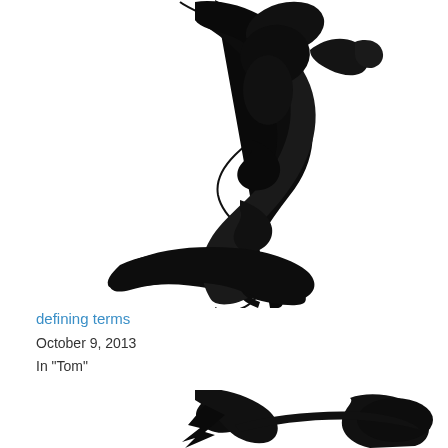[Figure (illustration): Large black ink calligraphy brushstroke character on white background, upper portion of page]
defining terms
October 9, 2013
In "Tom"
[Figure (illustration): Partial black ink calligraphy brushstroke at bottom of page, cropped]